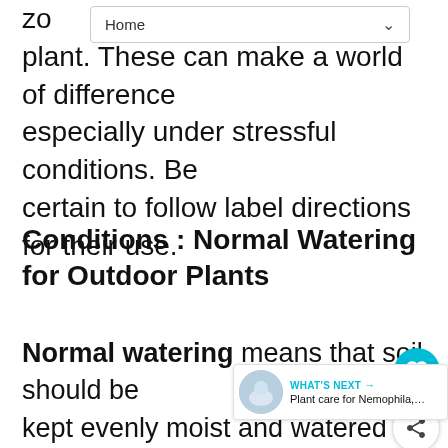Home
zone plant. These can make a world of difference especially under stressful conditions. Be certain to follow label directions for their use.
Conditions : Normal Watering for Outdoor Plants
Normal watering means that soil should be kept evenly moist and watered regularly, as conditions require. Most plants like 1 inch of water a week during the growing season. but take care not to over water. The firs after a plant is installed, regular watering is important for establishment. The first year is